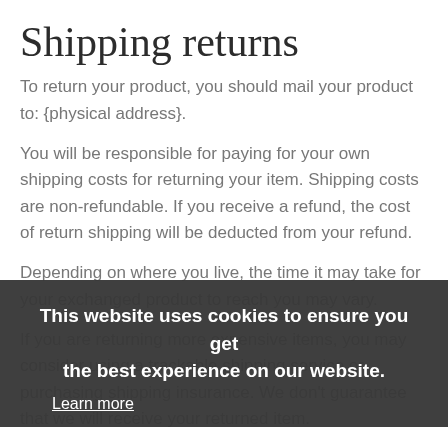Shipping returns
To return your product, you should mail your product to: {physical address}.
You will be responsible for paying for your own shipping costs for returning your item. Shipping costs are non-refundable. If you receive a refund, the cost of return shipping will be deducted from your refund.
Depending on where you live, the time it may take for your exchanged product to reach you may vary.
If you are returning more expensive items, you may consider using a trackable shipping service or purchasing shipping insurance. We don't guarantee that we will receive your returned item.
This website uses cookies to ensure you get the best experience on our website. Learn more
Got it